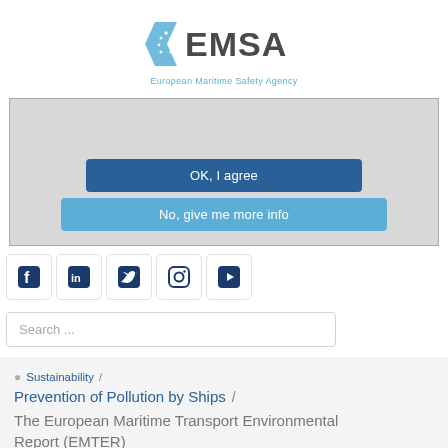[Figure (logo): EMSA - European Maritime Safety Agency logo with blue chevron/flag icon and text]
[Figure (screenshot): Cookie consent overlay with light gray background showing two buttons: 'OK, I agree' (dark blue) and 'No, give me more info' (light blue)]
[Figure (infographic): Social media icon row: Facebook, LinkedIn, Twitter, Instagram, YouTube]
Search ...
Sustainability / Prevention of Pollution by Ships / The European Maritime Transport Environmental Report (EMTER)